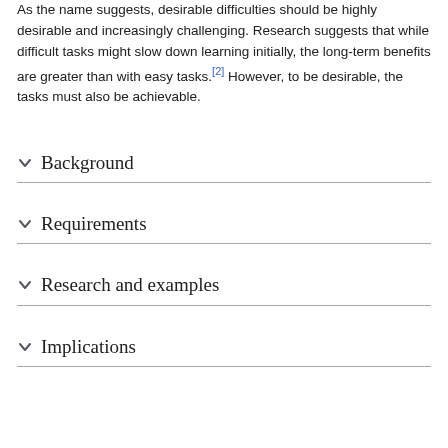As the name suggests, desirable difficulties should be highly desirable and increasingly challenging. Research suggests that while difficult tasks might slow down learning initially, the long-term benefits are greater than with easy tasks.[2] However, to be desirable, the tasks must also be achievable.
Background
Requirements
Research and examples
Implications